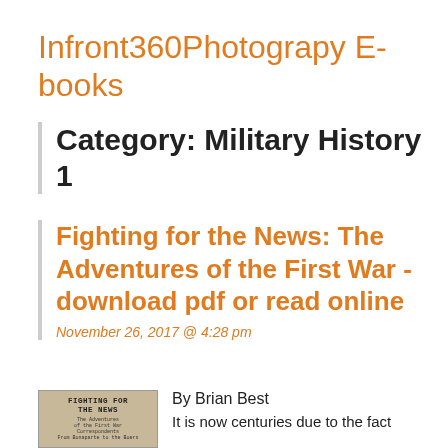Infront360Photograpy E-books
Category: Military History 1
Fighting for the News: The Adventures of the First War - download pdf or read online
November 26, 2017 @ 4:28 pm
[Figure (photo): Book cover of 'Fighting for the News: The Adventures of the First War Correspondents from Bonaparte to the Boers']
By Brian Best
It is now centuries due to the fact